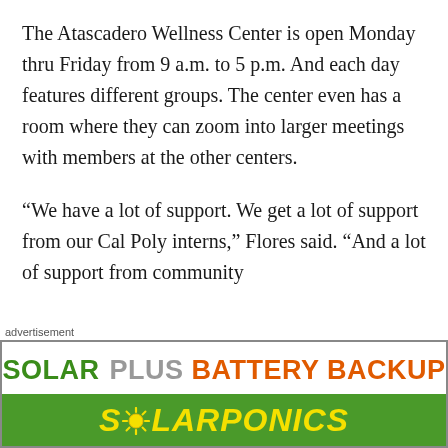The Atascadero Wellness Center is open Monday thru Friday from 9 a.m. to 5 p.m. And each day features different groups. The center even has a room where they can zoom into larger meetings with members at the other centers.
“We have a lot of support. We get a lot of support from our Cal Poly interns,” Flores said. “And a lot of support from community
advertisement
[Figure (other): Advertisement banner for Solarponics featuring text 'SOLAR PLUS BATTERY BACKUP' in green, gray, and orange on white background, and 'SOLARPONICS' in yellow italic bold text on a green background with a sun logo icon.]